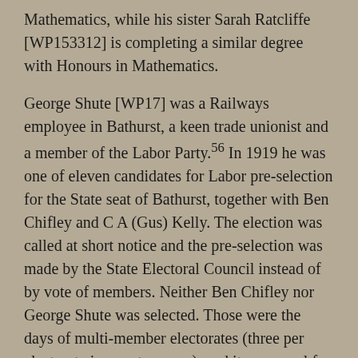Mathematics, while his sister Sarah Ratcliffe [WP153312] is completing a similar degree with Honours in Mathematics.
George Shute [WP17] was a Railways employee in Bathurst, a keen trade unionist and a member of the Labor Party.56 In 1919 he was one of eleven candidates for Labor pre-selection for the State seat of Bathurst, together with Ben Chifley and C A (Gus) Kelly. The election was called at short notice and the pre-selection was made by the State Electoral Council instead of by vote of members. Neither Ben Chifley nor George Shute was selected. Those were the days of multi-member electorates (three per electorate in country areas), and it was usual for parties to nominate more than one candidate in each electorate; and the two sitting members and Gus Kelly were selected. Gus Kelly remained member for Bathurst for the next twenty years. Ben Chifley sought nomination for the State seat of Bathurst again in 1924 and again was unsuccessful. He gained pre-selection for the federal seat of Macquarie in